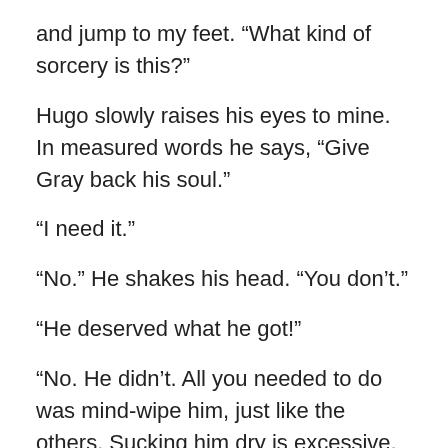and jump to my feet. “What kind of sorcery is this?”
Hugo slowly raises his eyes to mine. In measured words he says, “Give Gray back his soul.”
“I need it.”
“No.” He shakes his head. “You don’t.”
“He deserved what he got!”
“No. He didn’t. All you needed to do was mind-wipe him, just like the others. Sucking him dry is excessive. You don’t have to go that far. Besides that, we’re kinda short-handed. Do you really want to fall behind this time of year? Think about how hard it will be to find a replacement.”
The horror of this man’s cognizance of what I am grips me. “Who are you? What are you?” I take a few steps back